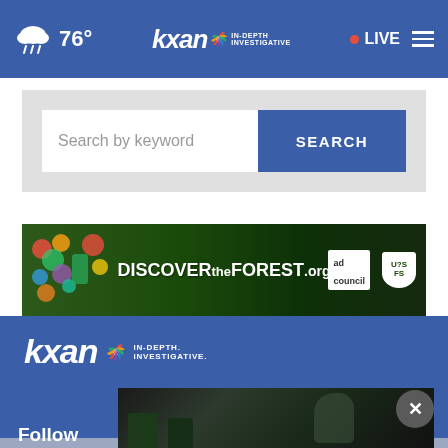KXAN IN-DEPTH INVESTIGATIVE | 76° | LIVE
[Figure (screenshot): Search bar with 'Search by keyword' placeholder and blue SEARCH button on gray background]
[Figure (screenshot): DISCOVERtheFOREST.org advertisement banner with colorful forest imagery, Ad Council and US Forest Service logos]
[Figure (logo): KXAN IN-DEPTH. INVESTIGATIVE. logo in white on blue background]
Follow
[Figure (photo): News photo showing a person sitting with head in hand, dark indoor setting with chairs]